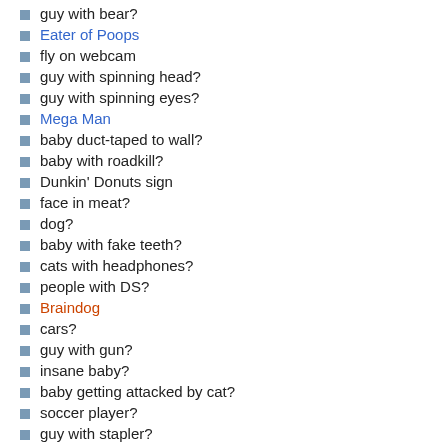guy with bear?
Eater of Poops
fly on webcam
guy with spinning head?
guy with spinning eyes?
Mega Man
baby duct-taped to wall?
baby with roadkill?
Dunkin' Donuts sign
face in meat?
dog?
baby with fake teeth?
cats with headphones?
people with DS?
Braindog
cars?
guy with gun?
insane baby?
baby getting attacked by cat?
soccer player?
guy with stapler?
guy with tie stapled to desk?